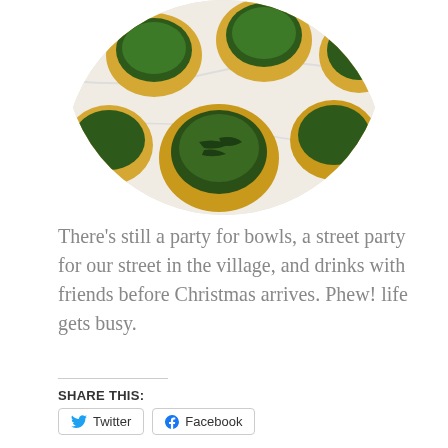[Figure (photo): Circular-cropped overhead photo of small spinach-filled pastry cups on a marble surface]
There’s still a party for bowls, a street party for our street in the village, and drinks with friends before Christmas arrives. Phew! life gets busy.
SHARE THIS:
[Figure (screenshot): Twitter and Facebook share buttons]
[Figure (screenshot): Like button with star icon and 8 blogger avatars row]
8 bloggers like this.